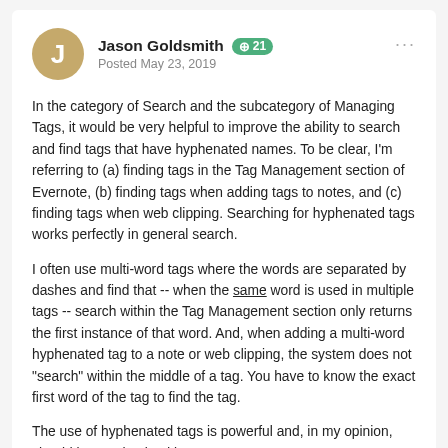Jason Goldsmith  +21  Posted May 23, 2019
In the category of Search and the subcategory of Managing Tags, it would be very helpful to improve the ability to search and find tags that have hyphenated names. To be clear, I'm referring to (a) finding tags in the Tag Management section of Evernote, (b) finding tags when adding tags to notes, and (c) finding tags when web clipping. Searching for hyphenated tags works perfectly in general search.
I often use multi-word tags where the words are separated by dashes and find that -- when the same word is used in multiple tags -- search within the Tag Management section only returns the first instance of that word. And, when adding a multi-word hyphenated tag to a note or web clipping, the system does not "search" within the middle of a tag. You have to know the exact first word of the tag to find the tag.
The use of hyphenated tags is powerful and, in my opinion, should be emphasized by Evernote.